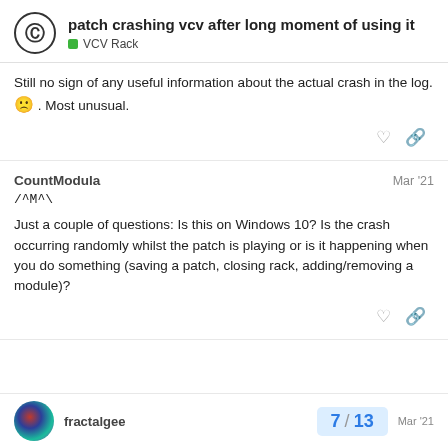patch crashing vcv after long moment of using it — VCV Rack
Still no sign of any useful information about the actual crash in the log. 🙁 . Most unusual.
CountModula — Mar '21
/^M^\
Just a couple of questions: Is this on Windows 10? Is the crash occurring randomly whilst the patch is playing or is it happening when you do something (saving a patch, closing rack, adding/removing a module)?
fractalgee — Mar '21
7 / 13